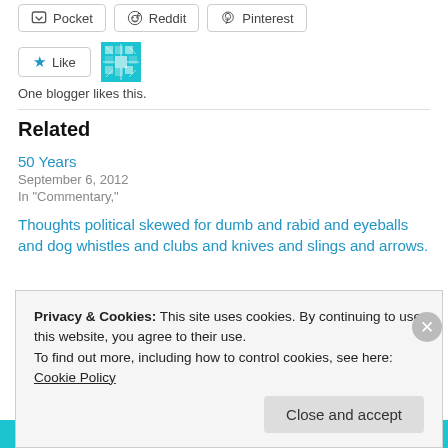[Figure (other): Share buttons row: Pocket, Reddit, Pinterest]
[Figure (other): Like button with star icon and teal avatar graphic]
One blogger likes this.
Related
50 Years
September 6, 2012
In "Commentary,"
Thoughts political skewed for dumb and rabid and eyeballs and dog whistles and clubs and knives and slings and arrows.
Privacy & Cookies: This site uses cookies. By continuing to use this website, you agree to their use.
To find out more, including how to control cookies, see here: Cookie Policy
Close and accept